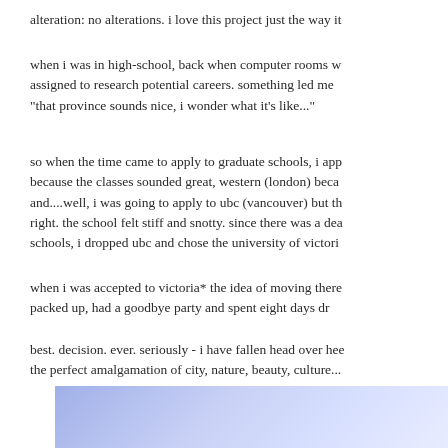alteration: no alterations. i love this project just the way it
when i was in high-school, back when computer rooms w assigned to research potential careers. something led me "that province sounds nice, i wonder what it's like..."
so when the time came to apply to graduate schools, i app because the classes sounded great, western (london) beca and....well, i was going to apply to ubc (vancouver) but th right. the school felt stiff and snotty. since there was a dea schools, i dropped ubc and chose the university of victori
when i was accepted to victoria* the idea of moving there packed up, had a goodbye party and spent eight days dr
best. decision. ever. seriously - i have fallen head over hee the perfect amalgamation of city, nature, beauty, culture...
[Figure (illustration): Blue-purple gradient rectangle at bottom of page, representing an image or photo with a soft blue/lavender gradient.]